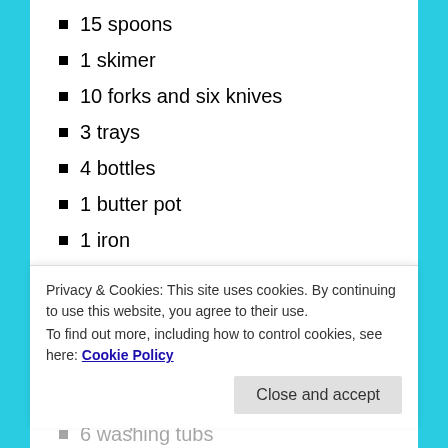15 spoons
1 skimer
10 forks and six knives
3 trays
4 bottles
1 butter pot
1 iron
2 slays
Loom and harness
2 sack bags
4 pails
4 soap books (partially visible)
6 washing tubs (partially visible)
Privacy & Cookies: This site uses cookies. By continuing to use this website, you agree to their use.
To find out more, including how to control cookies, see here: Cookie Policy